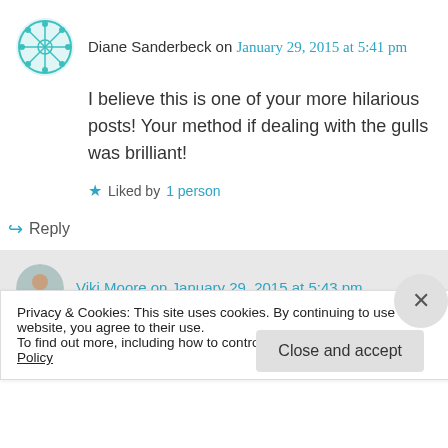Diane Sanderbeck on January 29, 2015 at 5:41 pm
I believe this is one of your more hilarious posts! Your method if dealing with the gulls was brilliant!
Liked by 1 person
Reply
Viki Moore on January 29, 2015 at 5:43 pm
Privacy & Cookies: This site uses cookies. By continuing to use this website, you agree to their use.
To find out more, including how to control cookies, see here: Cookie Policy
Close and accept